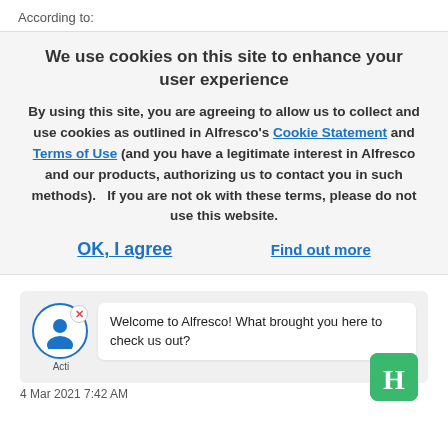According to:
[Figure (screenshot): Cookie consent banner with title 'We use cookies on this site to enhance your user experience', body text referencing Cookie Statement and Terms of Use links, and two action buttons: 'OK, I agree' and 'Find out more']
[Figure (screenshot): Chat widget showing a user avatar with close button, chat bubble saying 'Welcome to Alfresco! What brought you here to check us out?', a Hire 'H' icon, and 'Acti' label, with timestamp '4 Mar 2021 7:42 AM']
4 Mar 2021 7:42 AM